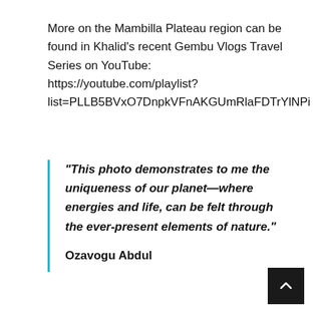More on the Mambilla Plateau region can be found in Khalid's recent Gembu Vlogs Travel Series on YouTube:
https://youtube.com/playlist?list=PLLB5BVxO7DnpkVFnAKGUmRlaFDTrYlNPi
“This photo demonstrates to me the uniqueness of our planet—where energies and life, can be felt through the ever-present elements of nature.”

Ozavogu Abdul